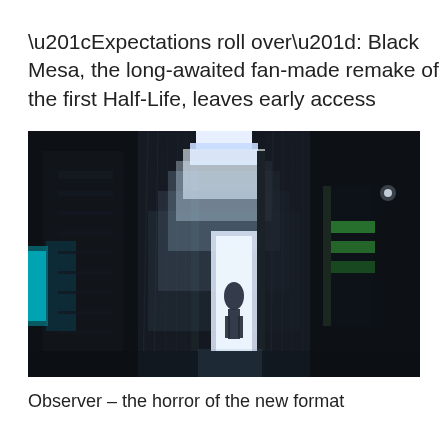“Expectations roll over”: Black Mesa, the long-awaited fan-made remake of the first Half-Life, leaves early access
[Figure (screenshot): Dark atmospheric screenshot from the game Black Mesa showing a dimly lit industrial corridor with a bright light overhead and a silhouetted figure in a doorway, with blue and green tinted lighting elements on either side]
Observer – the horror of the new format